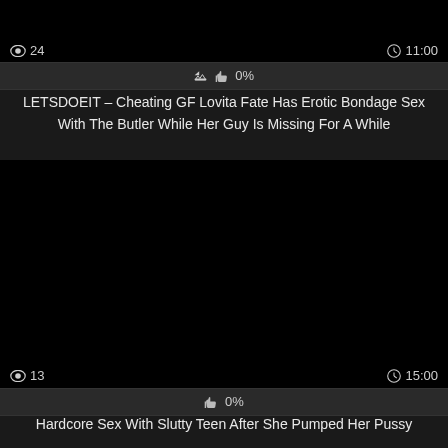[Figure (screenshot): Black video thumbnail with view count 24 and duration 11:00]
👁 24   🕐11:00
👍 0%
LETSDOEIT – Cheating GF Lovita Fate Has Erotic Bondage Sex With The Butler While Her Guy Is Missing For A While
[Figure (screenshot): Black video thumbnail with view count 13 and duration 15:00]
👁 13   🕐15:00
👍 0%
Hardcore Sex With Slutty Teen After She Pumped Her Pussy